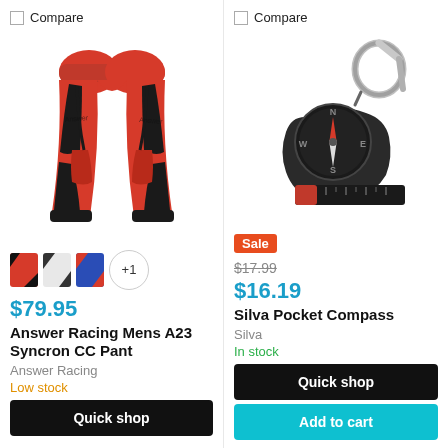Compare
[Figure (photo): Red and black motocross pants (Answer Racing Mens A23 Syncron CC Pant)]
[Figure (photo): Three color swatches of pants plus +1 button]
$79.95
Answer Racing Mens A23 Syncron CC Pant
Answer Racing
Low stock
Quick shop
Compare
[Figure (photo): Silva Pocket Compass with carabiner clip on dark background]
Sale
$17.99
$16.19
Silva Pocket Compass
Silva
In stock
Quick shop
Add to cart